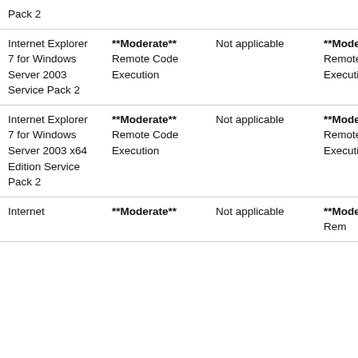| Pack 2 |  |  |  |
| Internet Explorer 7 for Windows Server 2003 Service Pack 2 | **Moderate** Remote Code Execution | Not applicable | **Moderate** Remote Code Execution |
| Internet Explorer 7 for Windows Server 2003 x64 Edition Service Pack 2 | **Moderate** Remote Code Execution | Not applicable | **Moderate** Remote Code Execution |
| Internet | **Moderate** | Not applicable | **Moderate** Rem |